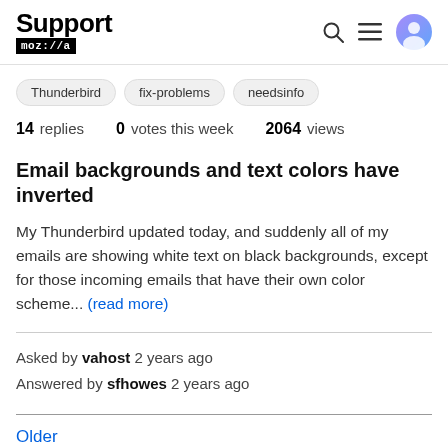Support mozilla// [Search] [Menu] [User]
Thunderbird
fix-problems
needsinfo
14 replies  0 votes this week  2064 views
Email backgrounds and text colors have inverted
My Thunderbird updated today, and suddenly all of my emails are showing white text on black backgrounds, except for those incoming emails that have their own color scheme... (read more)
Asked by vahost 2 years ago
Answered by sfhowes 2 years ago
Older